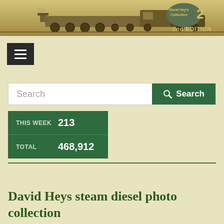[Figure (illustration): Sepia-toned vintage steam locomotive banner image with 'David Hey's Collection 2nd EDITION' badge overlay]
[Figure (other): Hamburger menu button (three horizontal lines icon) on dark background]
Search
| Label | Value |
| --- | --- |
| THIS WEEK | 213 |
| TOTAL | 468,912 |
David Heys steam diesel photo collection